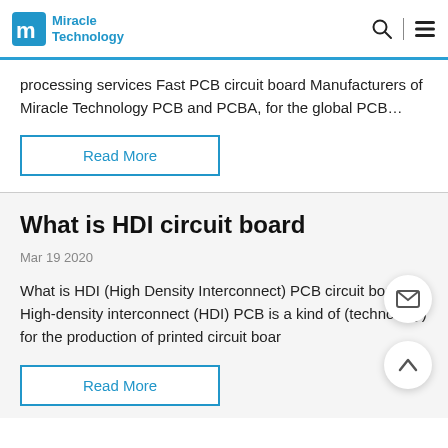Miracle Technology
processing services Fast PCB circuit board Manufacturers of Miracle Technology PCB and PCBA, for the global PCB…
Read More
What is HDI circuit board
Mar 19 2020
What is HDI (High Density Interconnect) PCB circuit board? High-density interconnect (HDI) PCB is a kind of (technology) for the production of printed circuit boar
Read More